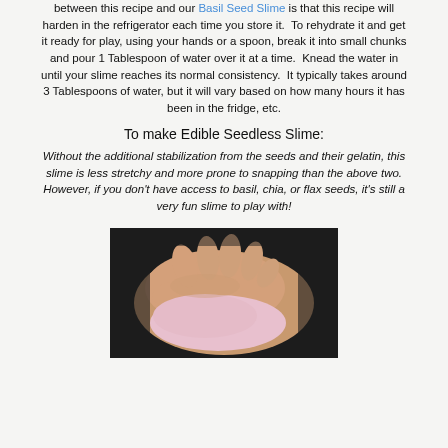between this recipe and our Basil Seed Slime is that this recipe will harden in the refrigerator each time you store it.  To rehydrate it and get it ready for play, using your hands or a spoon, break it into small chunks and pour 1 Tablespoon of water over it at a time.  Knead the water in until your slime reaches its normal consistency.  It typically takes around 3 Tablespoons of water, but it will vary based on how many hours it has been in the fridge, etc.
To make Edible Seedless Slime:
Without the additional stabilization from the seeds and their gelatin, this slime is less stretchy and more prone to snapping than the above two. However, if you don't have access to basil, chia, or flax seeds, it's still a very fun slime to play with!
[Figure (photo): A hand kneading or playing with pink slime against a dark background]